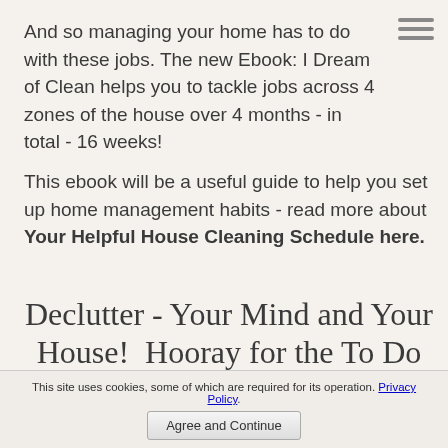And so managing your home has to do with these jobs. The new Ebook: I Dream of Clean helps you to tackle jobs across 4 zones of the house over 4 months - in total - 16 weeks!
This ebook will be a useful guide to help you set up home management habits - read more about Your Helpful House Cleaning Schedule here.
Declutter - Your Mind and Your House!  Hooray for the To Do List!
In my opinion, and in my own experience, managing
This site uses cookies, some of which are required for its operation. Privacy Policy. Agree and Continue